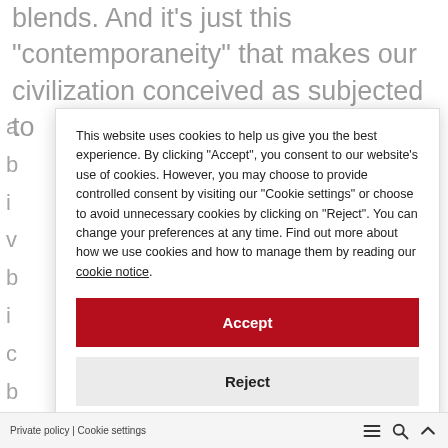blends. And it’s just this “contemporaneity” that makes our civilization conceived as subjected to
This website uses cookies to help us give you the best experience. By clicking "Accept", you consent to our website's use of cookies. However, you may choose to provide controlled consent by visiting our "Cookie settings" or choose to avoid unnecessary cookies by clicking on "Reject". You can change your preferences at any time. Find out more about how we use cookies and how to manage them by reading our cookie notice.
Accept
Reject
Cookie settings
Private policy | Cookie settings